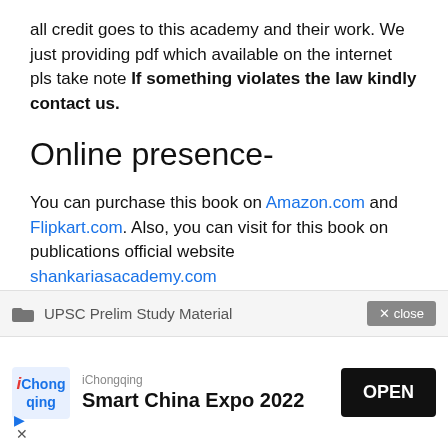all credit goes to this academy and their work. We just providing pdf which available on the internet pls take note If something violates the law kindly contact us.
Online presence-
You can purchase this book on Amazon.com and Flipkart.com. Also, you can visit for this book on publications official website shankariasacademy.com
UPSC Prelim Study Material
[Figure (screenshot): Advertisement banner for iChongqing Smart China Expo 2022 with OPEN button]